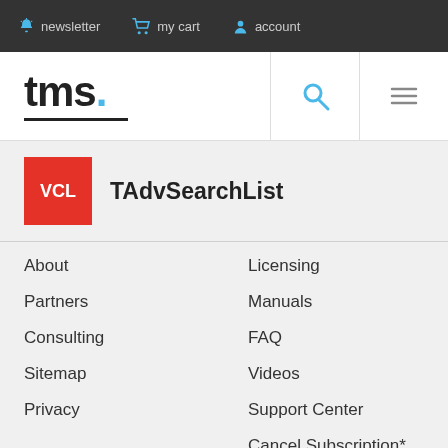newsletter   my cart   account
[Figure (logo): tms. logo with blue dot and underline, search icon, hamburger menu icon]
VCL  TAdvSearchList
About
Partners
Consulting
Sitemap
Privacy
Licensing
Manuals
FAQ
Videos
Support Center
Cancel Subscription*
(*German customers only)
Stay in touch
[Figure (illustration): Social media icons: RSS, Twitter, Facebook, LinkedIn, YouTube, Instagram]